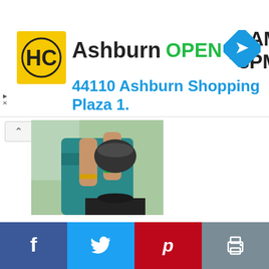[Figure (infographic): Advertisement banner for HC store in Ashburn showing logo, OPEN status, hours 8AM-8PM, address 44110 Ashburn Shopping Plaza 1., and navigation arrow icon]
[Figure (photo): Woman in traditional Indian attire cooking, stirring a pot on a stove]
Meet Padhu, the Chef, the photographer, recipe developer and web designer behind Padhuskitchen which features Simple Indian Vegetarian recipes, healthy recipes, kids friendly recipes, Indian festival recipes, traditional South Indian Vegetarian ...
READ MORE
[Figure (infographic): Social media sharing bar with Facebook, Twitter, Pinterest, and Print buttons]